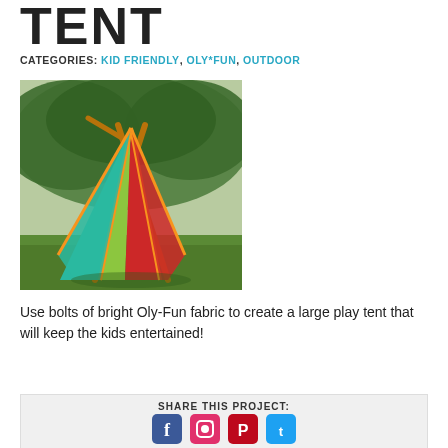TENT
CATEGORIES: KID FRIENDLY, OLY*FUN, OUTDOOR
[Figure (photo): Colorful play tent (teepee style) made of bright teal, green, red, and orange fabric panels with crossed wooden poles, set up outdoors on grass under trees.]
Use bolts of bright Oly-Fun fabric to create a large play tent that will keep the kids entertained!
SHARE THIS PROJECT: